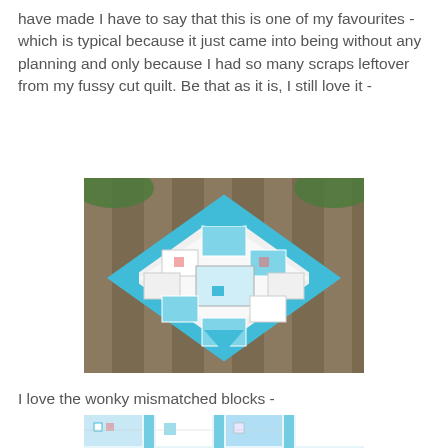have made I have to say that this is one of my favourites - which is typical because it just came into being without any planning and only because I had so many scraps leftover from my fussy cut quilt. Be that as it is, I still love it -
[Figure (photo): A patchwork quilt displayed on a wooden fence, rotated 45 degrees to form a diamond shape. The quilt features turquoise/aqua and white fabric blocks with various patterns.]
I love the wonky mismatched blocks -
[Figure (photo): Close-up photo of the patchwork quilt showing turquoise and white mismatched blocks with quilting detail.]